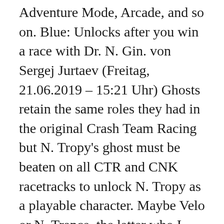Adventure Mode, Arcade, and so on. Blue: Unlocks after you win a race with Dr. N. Gin. von Sergej Jurtaev (Freitag, 21.06.2019 – 15:21 Uhr) Ghosts retain the same roles they had in the original Crash Team Racing but N. Tropy's ghost must be beaten on all CTR and CNK racetracks to unlock N. Tropy as a playable character. Maybe Velo or N. Trance, the latter who I think makes more sense since he and N. Tropy are best evil pals. Sims 4 Paranormal: How To Unlock And Level Up New Medium Skill, Sims 4 Paranormal Specters Guide: All Types, How to Summon & More, Sims 4 Paranormal: How To Summon Bonehilda, Just Some Anime Memes to Start Your Weekend off Right. Prince of Persia: The Sands of Time